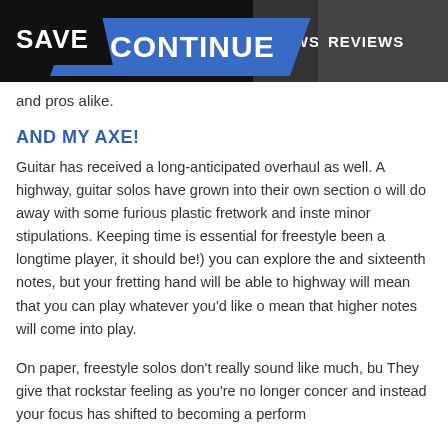SAVE  CONTINUE  NEWS  REVIEWS
and pros alike.
AND MY AXE!
Guitar has received a long-anticipated overhaul as well. A highway, guitar solos have grown into their own section o will do away with some furious plastic fretwork and inste minor stipulations. Keeping time is essential for freestyle been a longtime player, it should be!) you can explore the and sixteenth notes, but your fretting hand will be able to highway will mean that you can play whatever you'd like o mean that higher notes will come into play.
On paper, freestyle solos don't really sound like much, bu They give that rockstar feeling as you're no longer concer and instead your focus has shifted to becoming a perform